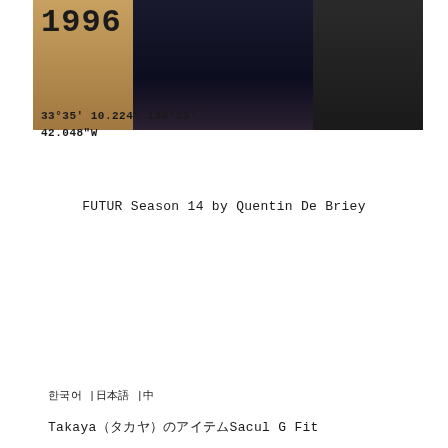[Figure (photo): Polaroid-style photograph from 1996 showing a person wearing a tan/camel colored coat over dark clothing. The photo has coordinate text overlay: 33°35' 10.224" 130°23' and 42.048"W. Year '1996' is visible in the upper left.]
FUTUR Season 14 by Quentin De Briey
한국어 |日本語 |中
Takaya（タカヤ）のアイテムSacul G Fit